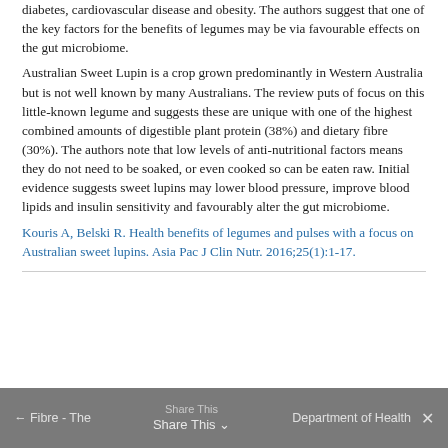diabetes, cardiovascular disease and obesity. The authors suggest that one of the key factors for the benefits of legumes may be via favourable effects on the gut microbiome.
Australian Sweet Lupin is a crop grown predominantly in Western Australia but is not well known by many Australians. The review puts of focus on this little-known legume and suggests these are unique with one of the highest combined amounts of digestible plant protein (38%) and dietary fibre (30%). The authors note that low levels of anti-nutritional factors means they do not need to be soaked, or even cooked so can be eaten raw. Initial evidence suggests sweet lupins may lower blood pressure, improve blood lipids and insulin sensitivity and favourably alter the gut microbiome.
Kouris A, Belski R. Health benefits of legumes and pulses with a focus on Australian sweet lupins. Asia Pac J Clin Nutr. 2016;25(1):1-17.
← Fibre - The | Share This ∨ | Department of Health ✕